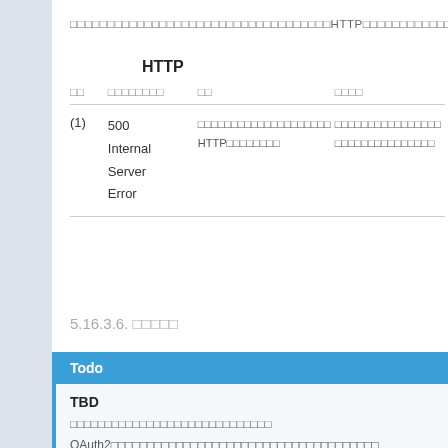□□□□□□□□□□□□□□□□□□□□□□□□□□□□□□□□□□□HTTP□□□□□□□□□□□□□□
HTTP
| □□ | □□□□□□□□ | □□ | □□□□ |
| --- | --- | --- | --- |
| (1) | 500 Internal Server Error | □□□□□□□□□□□□□□□□□□□□ HTTP□□□□□□□□ | □□□□□□□□□□□□□□□ □□□□□□□□□□□□□□□ |
5.16.3.6. □□□□□
Todo
TBD
□□□□□□□□□□□□□□□□□□□□□□□□□□□
OAuth2□□□□□□□□□□□□□□□□□□□□□□□□□□□□□□□□□□□□□